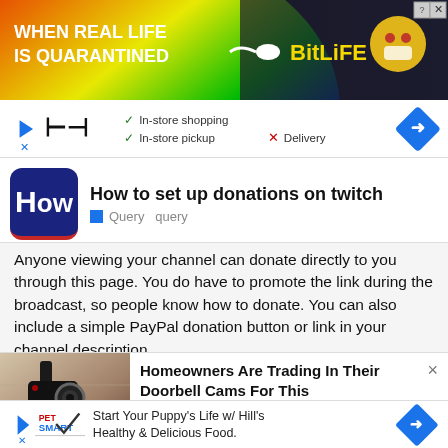[Figure (screenshot): BitLife advertisement banner with rainbow background and text 'WHEN REAL LIFE IS QUARANTINED']
[Figure (screenshot): Under Armour advertisement strip with checkmarks for in-store shopping and in-store pickup, X for Delivery]
How to set up donations on twitch
Query  query
Anyone viewing your channel can donate directly to you through this page. You do have to promote the link during the broadcast, so people know how to donate. You can also include a simple PayPal donation button or link in your channel description.
[Figure (photo): Doorbell camera mounted on wall]
Homeowners Are Trading In Their Doorbell Cams For This
Camerca | Sponsored
[Figure (screenshot): PetSmart advertisement: Start Your Puppy's Life w/ Hill's Healthy & Delicious Food.]